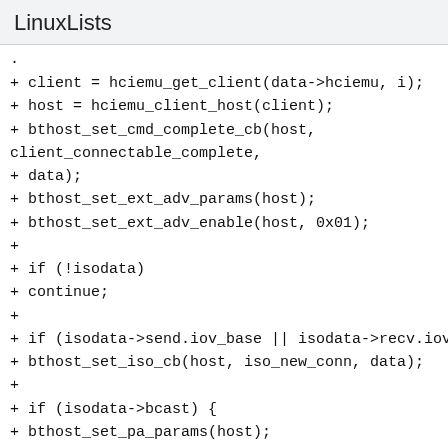LinuxLists
.
+ client = hciemu_get_client(data->hciemu, i);
+ host = hciemu_client_host(client);
+ bthost_set_cmd_complete_cb(host,
client_connectable_complete,
+ data);
+ bthost_set_ext_adv_params(host);
+ bthost_set_ext_adv_enable(host, 0x01);
+
+ if (!isodata)
+ continue;
+
+ if (isodata->send.iov_base || isodata->recv.iov_base)
+ bthost_set_iso_cb(host, iso_new_conn, data);
+
+ if (isodata->bcast) {
+ bthost_set_pa_params(host);